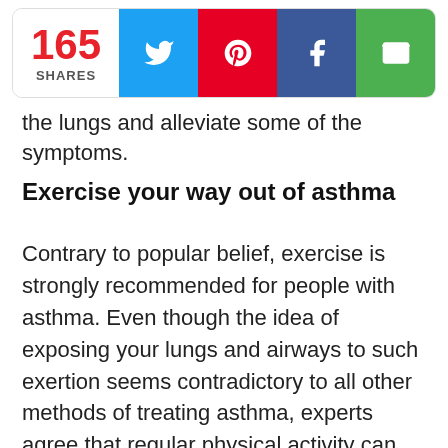[Figure (infographic): Social share bar showing 165 shares with buttons for Twitter (blue), Pinterest (red), Facebook (dark blue), and Email (green)]
the lungs and alleviate some of the symptoms.
Exercise your way out of asthma
Contrary to popular belief, exercise is strongly recommended for people with asthma. Even though the idea of exposing your lungs and airways to such exertion seems contradictory to all other methods of treating asthma, experts agree that regular physical activity can have various positive effects on both mental and physical health. Exercise will: